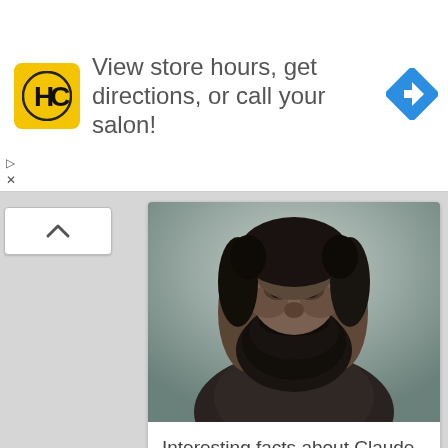[Figure (screenshot): Advertisement banner with HC salon logo (yellow square with HC in black), text 'View store hours, get directions, or call your salon!', and a blue navigation arrow diamond icon on the right. Small play/close icons on the left bottom.]
[Figure (photo): Partial painting/portrait of a bearded man, showing head and upper torso with dark beard and dark jacket, appears to be Claude Monet self-portrait.]
Interesting facts about Claude Monet
[Figure (photo): Black and white photo of a person doing parkour, jumping between urban buildings. Text 'Parkour' visible in the lower left of the image.]